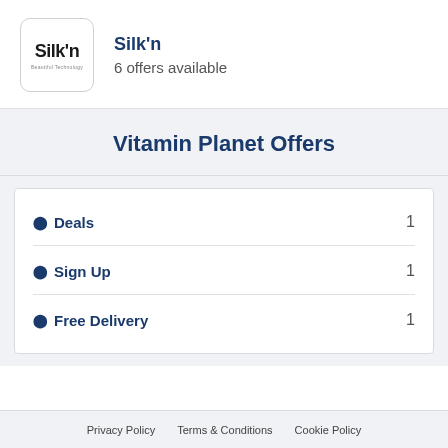[Figure (logo): Silk'n brand logo in a rounded square box with small tagline text 'Beautiful Technology']
Silk'n
6 offers available
Vitamin Planet Offers
Deals  1
Sign Up  1
Free Delivery  1
Privacy Policy    Terms & Conditions    Cookie Policy